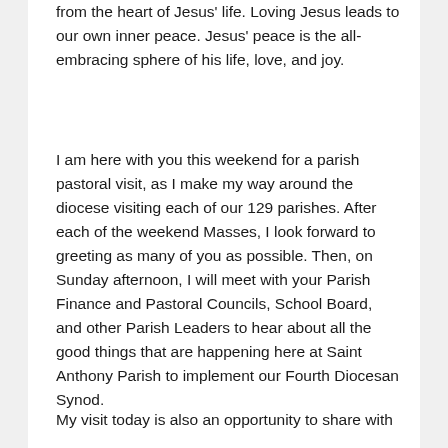from the heart of Jesus' life. Loving Jesus leads to our own inner peace. Jesus' peace is the all-embracing sphere of his life, love, and joy.
I am here with you this weekend for a parish pastoral visit, as I make my way around the diocese visiting each of our 129 parishes. After each of the weekend Masses, I look forward to greeting as many of you as possible. Then, on Sunday afternoon, I will meet with your Parish Finance and Pastoral Councils, School Board, and other Parish Leaders to hear about all the good things that are happening here at Saint Anthony Parish to implement our Fourth Diocesan Synod.
My visit today is also an opportunity to share with